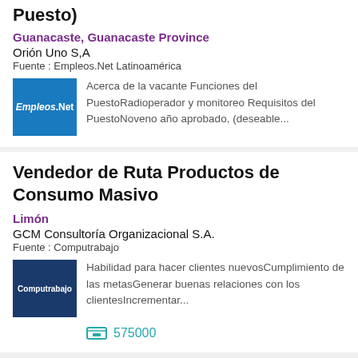Puesto)
Guanacaste, Guanacaste Province
Orión Uno S,A
Fuente : Empleos.Net Latinoamérica
[Figure (logo): Empleos.Net logo — blue background with white text]
Acerca de la vacante Funciones del PuestoRadioperador y monitoreo Requisitos del PuestoNoveno año aprobado, (deseable...
Vendedor de Ruta Productos de Consumo Masivo
Limón
GCM Consultoría Organizacional S.A.
Fuente : Computrabajo
[Figure (logo): Computrabajo logo — dark navy background with white text]
Habilidad para hacer clientes nuevosCumplimiento de las metasGenerar buenas relaciones con los clientesIncrementar...
575000